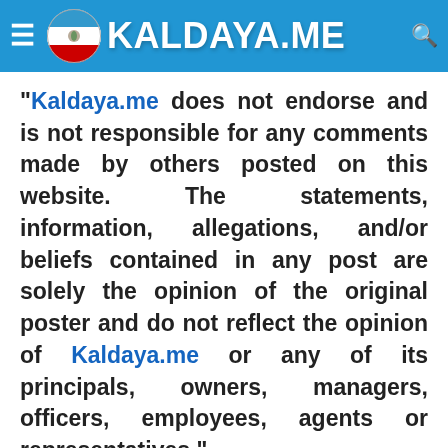Kaldaya.me
"Kaldaya.me does not endorse and is not responsible for any comments made by others posted on this website. The statements, information, allegations, and/or beliefs contained in any post are solely the opinion of the original poster and do not reflect the opinion of Kaldaya.me or any of its principals, owners, managers, officers, employees, agents or representatives."